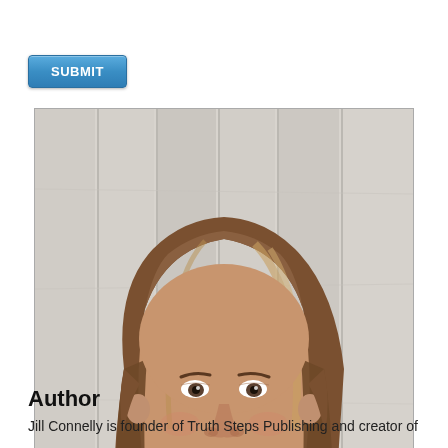[Figure (other): Blue submit button UI element]
[Figure (photo): Professional headshot of a woman with brown/blonde hair wearing a dark blazer and teal necklace, standing in front of a white wooden background, smiling at the camera]
Author
Jill Connelly is founder of Truth Steps Publishing and creator of